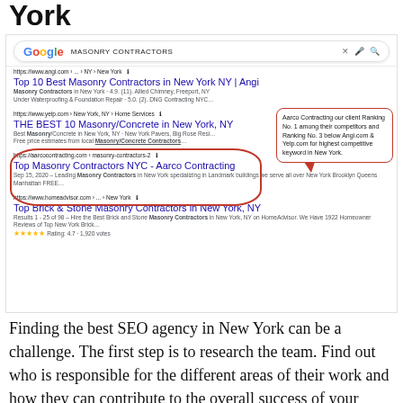York
[Figure (screenshot): Google search results screenshot showing masonry contractors search with Aarco Contracting ranked #3, with a red callout bubble and red oval circle around the Aarco Contracting result.]
Finding the best SEO agency in New York can be a challenge. The first step is to research the team. Find out who is responsible for the different areas of their work and how they can contribute to the overall success of your business. A good SEO agency will have a proven track record of